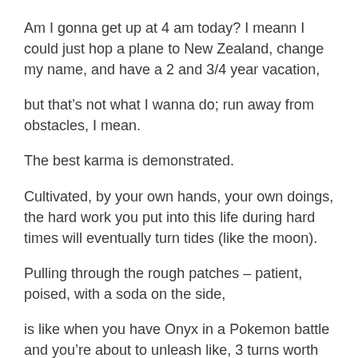Am I gonna get up at 4 am today? I meann I could just hop a plane to New Zealand, change my name, and have a 2 and 3/4 year vacation,
but that’s not what I wanna do; run away from obstacles, I mean.
The best karma is demonstrated.
Cultivated, by your own hands, your own doings, the hard work you put into this life during hard times will eventually turn tides (like the moon).
Pulling through the rough patches – patient, poised, with a soda on the side,
is like when you have Onyx in a Pokemon battle and you’re about to unleash like, 3 turns worth of ‘Bide.’